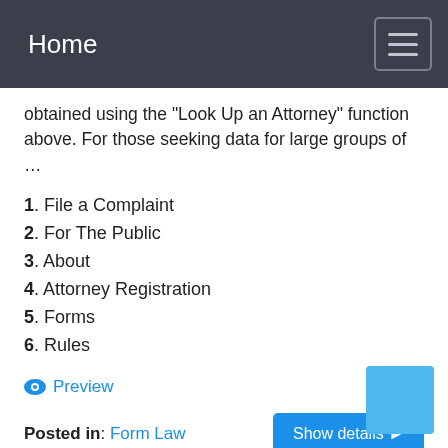Home
obtained using the “Look Up an Attorney” function above. For those seeking data for large groups of …
1. File a Complaint
2. For The Public
3. About
4. Attorney Registration
5. Forms
6. Rules
Preview
Posted in: Form Law
[Figure (other): Light blue square button in bottom right corner]